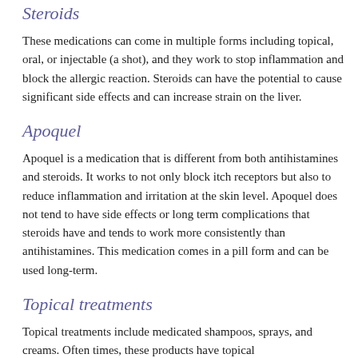Steroids
These medications can come in multiple forms including topical, oral, or injectable (a shot), and they work to stop inflammation and block the allergic reaction. Steroids can have the potential to cause significant side effects and can increase strain on the liver.
Apoquel
Apoquel is a medication that is different from both antihistamines and steroids. It works to not only block itch receptors but also to reduce inflammation and irritation at the skin level. Apoquel does not tend to have side effects or long term complications that steroids have and tends to work more consistently than antihistamines. This medication comes in a pill form and can be used long-term.
Topical treatments
Topical treatments include medicated shampoos, sprays, and creams. Often times, these products have topical antihistamines and/or things that are meant to help soothe and